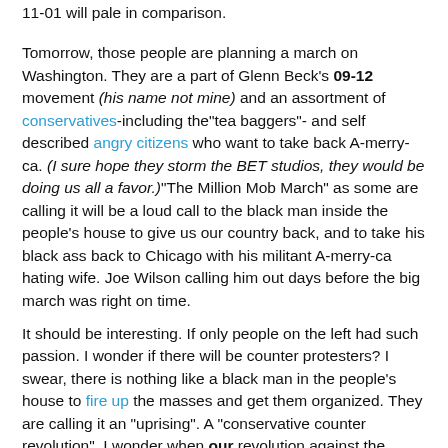11-01 will pale in comparison.
Tomorrow, those people are planning a march on Washington. They are a part of Glenn Beck's 09-12 movement (his name not mine) and an assortment of conservatives-including the"tea baggers"- and self described angry citizens who want to take back A-merry-ca. (I sure hope they storm the BET studios, they would be doing us all a favor.)"The Million Mob March" as some are calling it will be a loud call to the black man inside the people's house to give us our country back, and to take his black ass back to Chicago with his militant A-merry-ca hating wife. Joe Wilson calling him out days before the big march was right on time.
It should be interesting. If only people on the left had such passion. I wonder if there will be counter protesters? I swear, there is nothing like a black man in the people's house to fire up the masses and get them organized. They are calling it an "uprising". A "conservative counter revolution". I wonder when our revolution against the conservative revolution is going to start? Or do we even need a revolution because our boy is in the White House? I think we need a revolution...